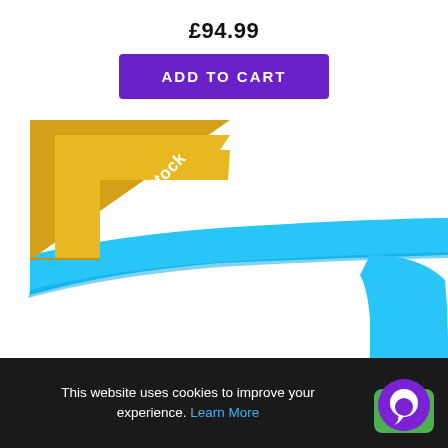£94.99
ADD TO CART
[Figure (illustration): An 'Out Of Stock' diagonal ribbon/banner in gold/yellow color overlaid on a blue swoosh decorative graphic element on white background.]
This website uses cookies to improve your experience. Learn More